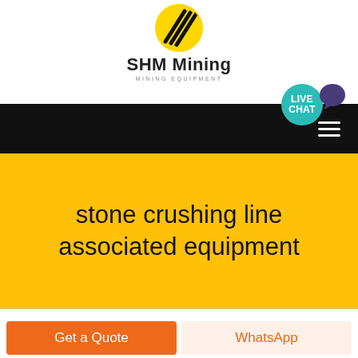[Figure (logo): SHM Mining logo: yellow circle with black diagonal stripes, text 'SHM Mining' and 'MINING EQUIPMENT' below]
[Figure (infographic): Dark navigation bar with hamburger menu icon (three white lines) on the right, and a teal 'LIVE CHAT' circular badge with speech bubble icon]
stone crushing line associated equipment
[Figure (screenshot): Orange 'Get a Quote' button and peach/beige 'WhatsApp' button side by side at the bottom]